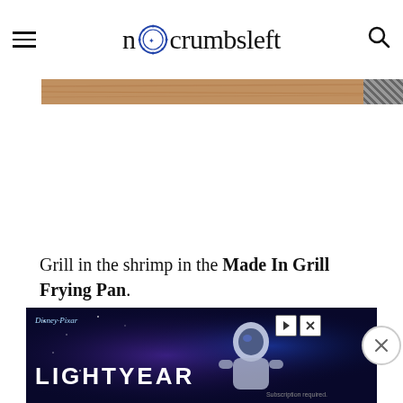nocrumbsleft
[Figure (photo): Partial view of a wooden surface or food photo strip at top of article]
Grill in the shrimp in the Made In Grill Frying Pan.
The p...eal amou...h the
[Figure (photo): Disney Pixar Lightyear advertisement banner with astronaut figure and colorful space background]